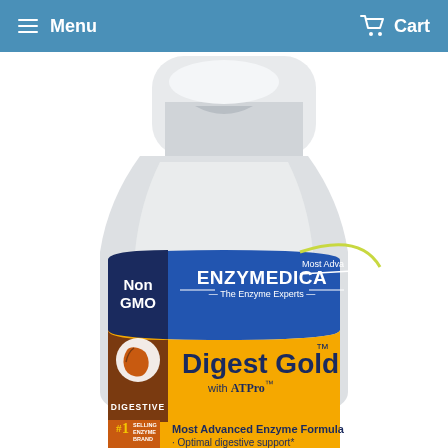Menu   Cart
[Figure (photo): Enzymedica Digest Gold with ATPro supplement bottle. White plastic bottle with blue and gold label. Label shows: Non GMO, ENZYMEDICA - The Enzyme Experts, Most Advanced (text partially cut off), Digest Gold with ATPro, DIGESTIVE, #1 Selling Enzyme Brand, Most Advanced Enzyme Formula, Optimal digestive support*]